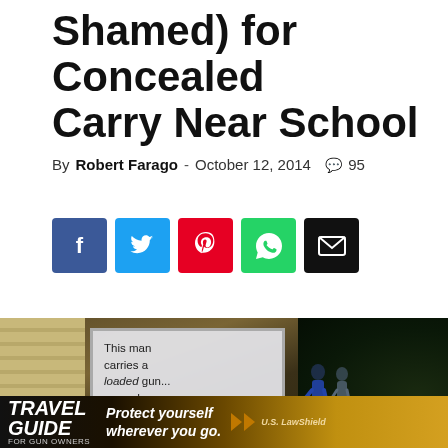Shamed) for Concealed Carry Near School
By Robert Farago - October 12, 2014  💬 95
[Figure (infographic): Social share buttons: Facebook, Twitter, Pinterest, WhatsApp, Email]
◄ Previous Post    Next Post ►
[Figure (photo): Photo of a sign reading 'This man carries a loaded gun around your children... every day.' with a person walking in the background. Below is an advertisement for US Law Shield: TRAVEL GUIDE FOR GUN OWNERS - Protect yourself wherever you go.]